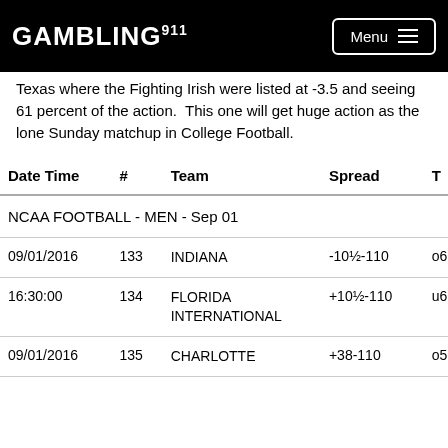GAMBLING911  Menu
Texas where the Fighting Irish were listed at -3.5 and seeing 61 percent of the action.  This one will get huge action as the lone Sunday matchup in College Football.
| Date Time | # | Team | Spread | T |
| --- | --- | --- | --- | --- |
| NCAA FOOTBALL - MEN - Sep 01 |  |  |  |  |
| 09/01/2016 | 133 | INDIANA | -10½-110 | o61 |
| 16:30:00 | 134 | FLORIDA INTERNATIONAL | +10½-110 | u61 |
| 09/01/2016 | 135 | CHARLOTTE | +38-110 | o57 |